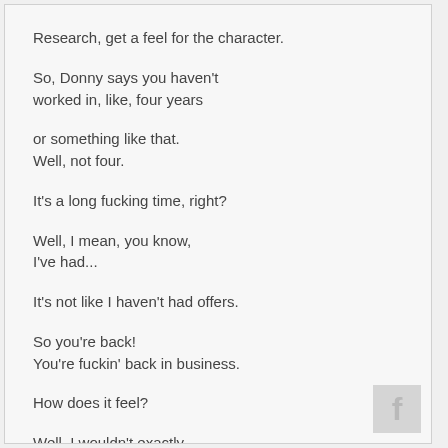Research, get a feel for the character.
So, Donny says you haven't
worked in, like, four years
or something like that.
Well, not four.
It's a long fucking time, right?
Well, I mean, you know,
I've had...
It's not like I haven't had offers.
So you're back!
You're fuckin' back in business.
How does it feel?
Well, I wouldn't exactly
call this "back."